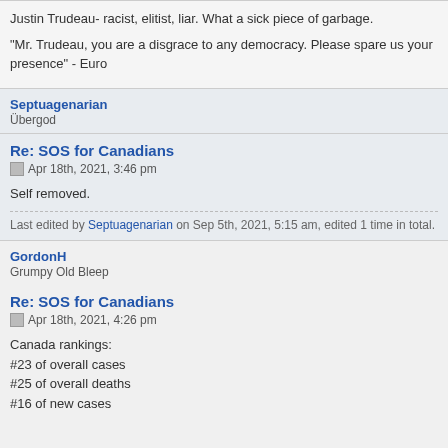Justin Trudeau- racist, elitist, liar. What a sick piece of garbage.
"Mr. Trudeau, you are a disgrace to any democracy. Please spare us your presence" - Euro
Septuagenarian
Übergod
Re: SOS for Canadians
Apr 18th, 2021, 3:46 pm
Self removed.
Last edited by Septuagenarian on Sep 5th, 2021, 5:15 am, edited 1 time in total.
GordonH
Grumpy Old Bleep
Re: SOS for Canadians
Apr 18th, 2021, 4:26 pm
Canada rankings:
#23 of overall cases
#25 of overall deaths
#16 of new cases